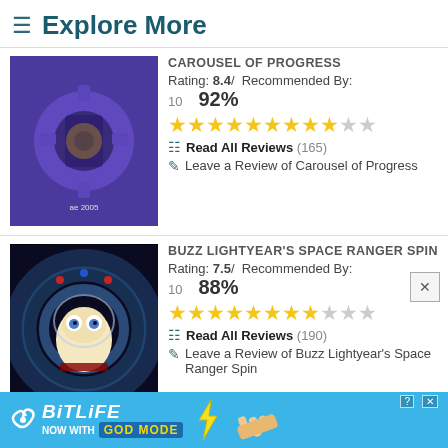≡ Explore More
CAROUSEL OF PROGRESS
Rating: 8.4/ Recommended By:
10   92%
★★★★★★★★★☆☆
Read All Reviews (165)
Leave a Review of Carousel of Progress
BUZZ LIGHTYEAR'S SPACE RANGER SPIN
Rating: 7.5/ Recommended By:
10   88%
★★★★★★★★☆☆☆
Read All Reviews (190)
Leave a Review of Buzz Lightyear's Space Ranger Spin